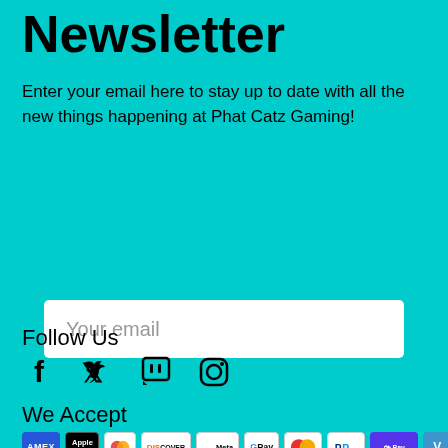Newsletter
Enter your email here to stay up to date with all the new things happening at Phat Catz Gaming!
[Figure (other): Email input field with placeholder text 'Your email']
[Figure (other): Subscribe button with purple gradient background]
Follow Us
[Figure (other): Social media icons: Facebook, Twitter, Twitch, Instagram]
We Accept
[Figure (other): Payment method icons: Amex, Apple Pay, Diners, Discover, Meta Pay, Google Pay, Mastercard, PayPal, Shop Pay, Venmo]